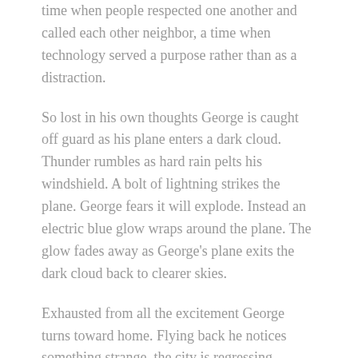time when people respected one another and called each other neighbor, a time when technology served a purpose rather than as a distraction.
So lost in his own thoughts George is caught off guard as his plane enters a dark cloud. Thunder rumbles as hard rain pelts his windshield. A bolt of lightning strikes the plane. George fears it will explode. Instead an electric blue glow wraps around the plane. The glow fades away as George's plane exits the dark cloud back to clearer skies.
Exhausted from all the excitement George turns toward home. Flying back he notices something strange, the city is regressing through time. Buildings and the surrounding landscapes grow younger with every passing moment. Time is reversing, everything within view is changing, the new replacing the old.